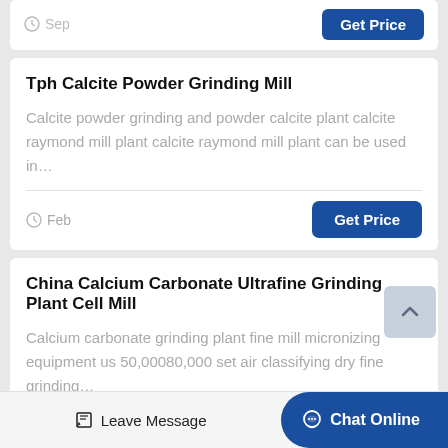Tph Calcite Powder Grinding Mill
Calcite powder grinding and powder calcite plant calcite raymond mill plant calcite raymond mill plant can be used in…
Feb
China Calcium Carbonate Ultrafine Grinding Plant Cell Mill
Calcium carbonate grinding plant fine mill micronizing equipment us 50,00080,000 set air classifying dry fine grinding…
Leave Message
Chat Online